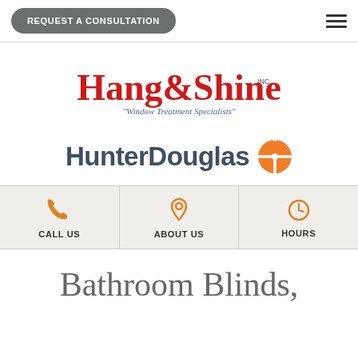REQUEST A CONSULTATION
[Figure (logo): Hang & Shine Inc. Window Treatment Specialists logo in red cursive script with blue tagline]
[Figure (logo): HunterDouglas logo with orange compass/cross icon]
CALL US
ABOUT US
HOURS
Bathroom Blinds,